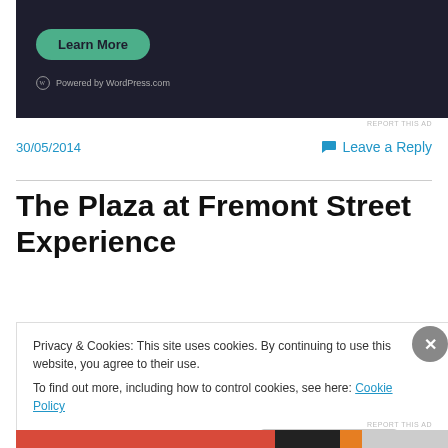[Figure (screenshot): WordPress.com ad banner with dark background, teal 'Learn More' button, and WordPress powered logo]
REPORT THIS AD
30/05/2014
Leave a Reply
The Plaza at Fremont Street Experience
Privacy & Cookies: This site uses cookies. By continuing to use this website, you agree to their use.
To find out more, including how to control cookies, see here: Cookie Policy
Close and accept